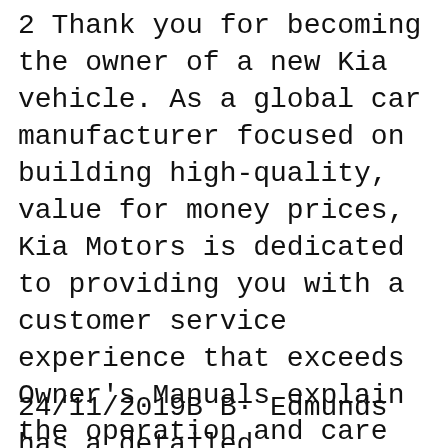2 Thank you for becoming the owner of a new Kia vehicle. As a global car manufacturer focused on building high-quality, value for money prices, Kia Motors is dedicated to providing you with a customer service experience that exceeds Owner's Manuals explain the operation and care of your vehicle. With step-by-step instructions, clear pictures, fluid capacities and specifications, you will have the information you need to get the most from your vehicle. 2013 Kia Optima EX Luxury Sedan 4-Door: 2013 Kia Optima Hybrid LX Sedan 4-Door: 2013 Kia Optima LX Sedan 4-Door:
24/11/2019B B· Edmunds has a detailed